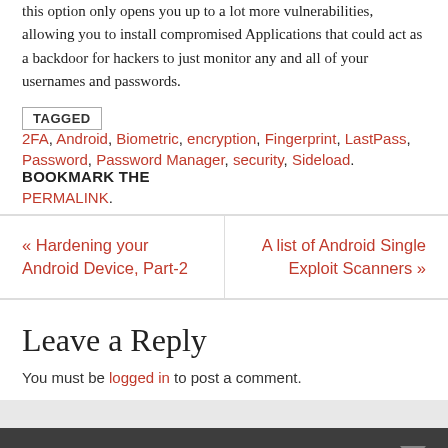this option only opens you up to a lot more vulnerabilities, allowing you to install compromised Applications that could act as a backdoor for hackers to just monitor any and all of your usernames and passwords.
TAGGED 2FA, Android, Biometric, encryption, Fingerprint, LastPass, Password, Password Manager, security, Sideload. BOOKMARK THE PERMALINK.
« Hardening your Android Device, Part-2
A list of Android Single Exploit Scanners »
Leave a Reply
You must be logged in to post a comment.
PAGES